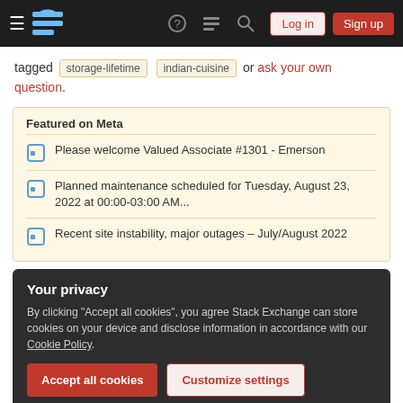Navigation bar with hamburger menu, logo, help, chat, search, Log in, Sign up
tagged storage-lifetime indian-cuisine or ask your own question.
Featured on Meta
Please welcome Valued Associate #1301 - Emerson
Planned maintenance scheduled for Tuesday, August 23, 2022 at 00:00-03:00 AM...
Recent site instability, major outages – July/August 2022
Your privacy
By clicking "Accept all cookies", you agree Stack Exchange can store cookies on your device and disclose information in accordance with our Cookie Policy.
Accept all cookies | Customize settings
1  How long does Peanut Oil keep